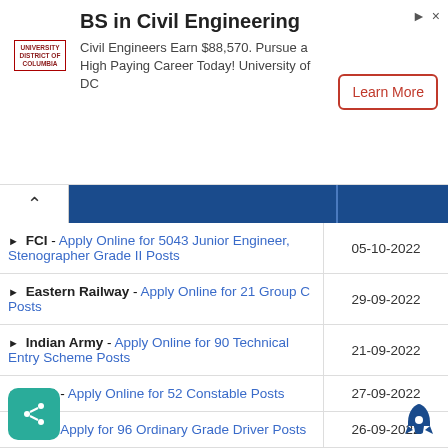[Figure (screenshot): Advertisement banner for BS in Civil Engineering from University of DC with Learn More button]
| Notification | Last Date |
| --- | --- |
| FCI - Apply Online for 5043 Junior Engineer, Stenographer Grade II Posts | 05-10-2022 |
| Eastern Railway - Apply Online for 21 Group C Posts | 29-09-2022 |
| Indian Army - Apply Online for 90 Technical Entry Scheme Posts | 21-09-2022 |
| ITBP - Apply Online for 52 Constable Posts | 27-09-2022 |
| GSI - Apply for 96 Ordinary Grade Driver Posts | 26-09-2022 |
| Indian Army - Apply Online for 55 National Cadet Corps Posts | 15-09-2022 |